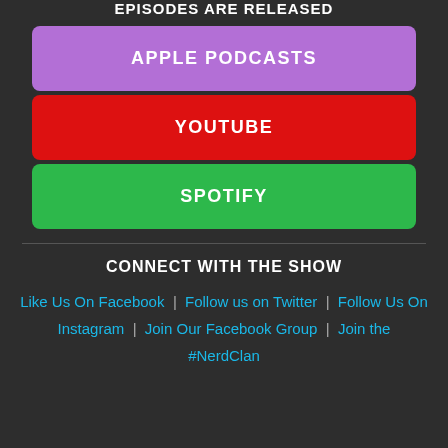EPISODES ARE RELEASED
APPLE PODCASTS
YOUTUBE
SPOTIFY
CONNECT WITH THE SHOW
Like Us On Facebook | Follow us on Twitter | Follow Us On Instagram | Join Our Facebook Group | Join the #NerdClan